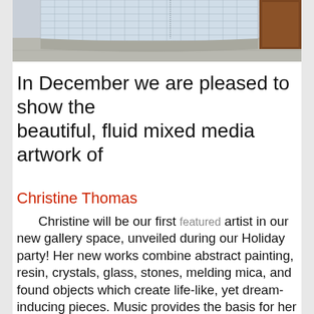[Figure (photo): Exterior photograph of a building with a glass block wall and curved concrete structure, with a wood-paneled door visible at the right edge.]
In December we are pleased to show the beautiful, fluid mixed media artwork of
Christine Thomas
Christine will be our first featured artist in our new gallery space, unveiled during our Holiday party! Her new works combine abstract painting, resin, crystals, glass, stones, melding mica, and found objects which create life-like, yet dream-inducing pieces. Music provides the basis for her inspiration, and helps guide these transformative works. Each